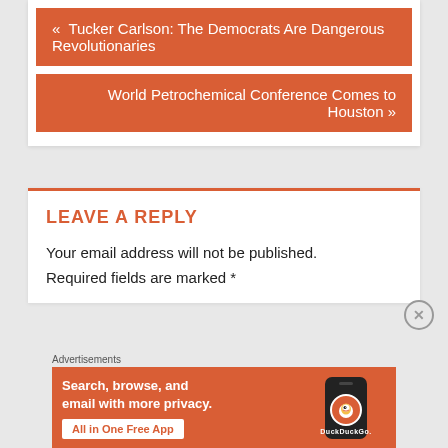« Tucker Carlson: The Democrats Are Dangerous Revolutionaries
World Petrochemical Conference Comes to Houston »
LEAVE A REPLY
Your email address will not be published. Required fields are marked *
[Figure (other): DuckDuckGo advertisement banner: 'Search, browse, and email with more privacy. All in One Free App' with DuckDuckGo logo and phone image]